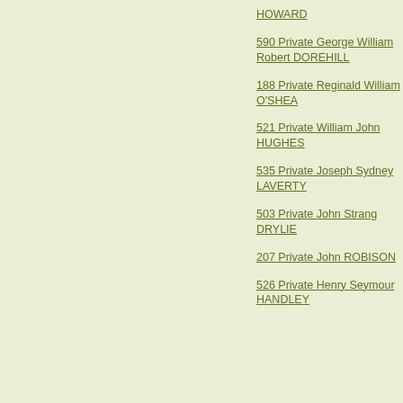HOWARD
590 Private George William Robert DOREHILL
188 Private Reginald William O'SHEA
521 Private William John HUGHES
535 Private Joseph Sydney LAVERTY
503 Private John Strang DRYLIE
207 Private John ROBISON
526 Private Henry Seymour HANDLEY